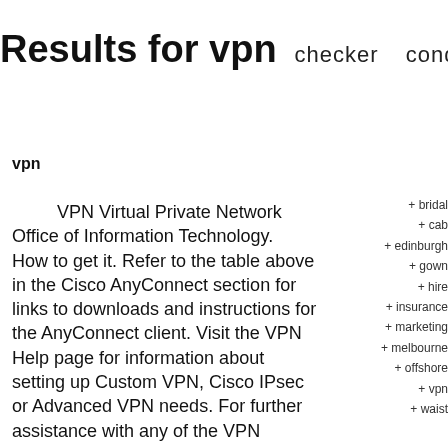Results for vpn  checker  conditioner  hoesje  hypnose  i
vpn
VPN Virtual Private Network Office of Information Technology.
How to get it. Refer to the table above in the Cisco AnyConnect section for links to downloads and instructions for the AnyConnect client. Visit the VPN Help page for information about setting up Custom VPN, Cisco IPsec or Advanced VPN needs. For further assistance with any of the VPN services, contact the IT Service Center.
+ bridal
+ cab
+ edinburgh
+ gown
+ hire
+ insurance
+ marketing
+ melbourne
+ offshore
+ vpn
+ waist